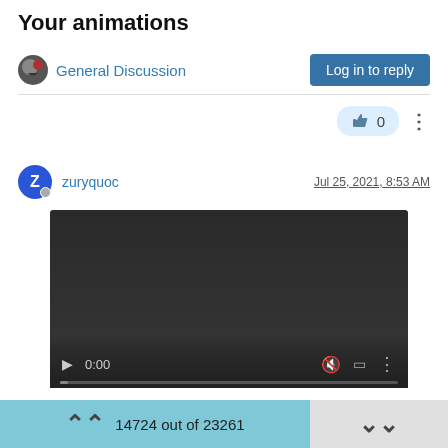Your animations
General Discussion
Log in to reply
👍 0
zuryquoc  Jul 25, 2021, 8:53 AM
[Figure (screenshot): Embedded video player showing 0:00 with playback controls including play button, time display, mute, fullscreen, and options buttons, with a dark background and progress bar.]
To download this video just click with right mouse button on this link and select "Save link as..."
14724 out of 23261